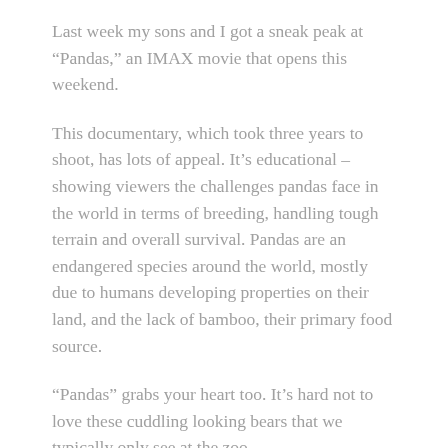Last week my sons and I got a sneak peak at “Pandas,” an IMAX movie that opens this weekend.
This documentary, which took three years to shoot, has lots of appeal. It’s educational – showing viewers the challenges pandas face in the world in terms of breeding, handling tough terrain and overall survival. Pandas are an endangered species around the world, mostly due to humans developing properties on their land, and the lack of bamboo, their primary food source.
“Pandas” grabs your heart too. It’s hard not to love these cuddling looking bears that we typically only see at the zoo.
When we first meet these cute pandas, they’re newborns, adorable and looking like stuffed animals. We see them